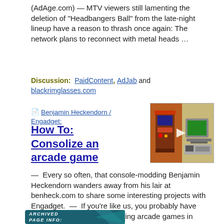(AdAge.com) — MTV viewers still lamenting the deletion of "Headbangers Ball" from the late-night lineup have a reason to thrash once again: The network plans to reconnect with metal heads …
Discussion:  PaidContent, AdJab and blackrimglasses.com
Benjamin Heckendorn / Engadget:
How To: Consolize an arcade game
[Figure (photo): Photo of an arcade game cabinet next to a television, with a play button overlay.]
—  Every so often, that console-modding Benjamin Heckendorn wanders away from his lair at benheck.com to share some interesting projects with Engadget.  —  If you're like us, you probably have many fond memories of playing arcade games in your younger days.
Discussion:  digg
[Figure (other): Archived Page Info banner graphic with teal/dark background.]